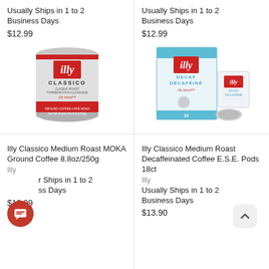Usually Ships in 1 to 2 Business Days
$12.99
Usually Ships in 1 to 2 Business Days
$12.99
[Figure (photo): Illy Classico Medium Roast MOKA Ground Coffee silver tin with red label, 8.8oz/250g]
[Figure (photo): Illy Classico Medium Roast Decaffeinated Coffee E.S.E. Pods 18ct box with pods]
Illy Classico Medium Roast MOKA Ground Coffee 8.8oz/250g
Illy
Usually Ships in 1 to 2 Business Days
$12.99
Illy Classico Medium Roast Decaffeinated Coffee E.S.E. Pods 18ct
Illy
Usually Ships in 1 to 2 Business Days
$13.90